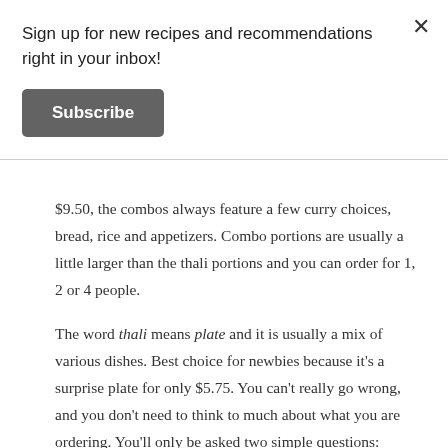Sign up for new recipes and recommendations right in your inbox!
Subscribe
$9.50, the combos always feature a few curry choices, bread, rice and appetizers. Combo portions are usually a little larger than the thali portions and you can order for 1, 2 or 4 people.
The word thali means plate and it is usually a mix of various dishes. Best choice for newbies because it’s a surprise plate for only $5.75. You can’t really go wrong, and you don’t need to think to much about what you are ordering. You’ll only be asked two simple questions:
Lentil or Chickpea?
Bread: Fried or not fried?